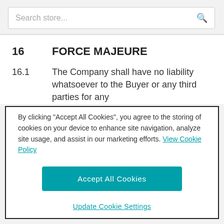Search store...
16   FORCE MAJEURE
16.1   The Company shall have no liability whatsoever to the Buyer or any third parties for any
By clicking "Accept All Cookies", you agree to the storing of cookies on your device to enhance site navigation, analyze site usage, and assist in our marketing efforts. View Cookie Policy
Accept All Cookies
Update Cookie Settings